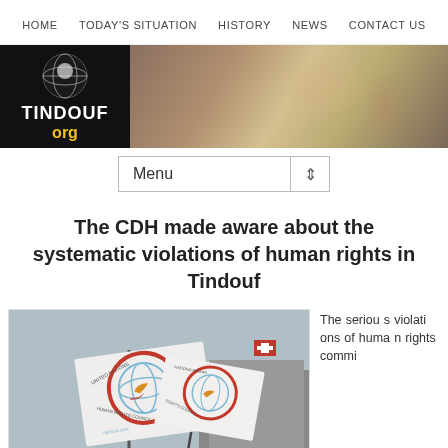HOME   TODAY'S SITUATION   HISTORY   NEWS   CONTACT US
[Figure (photo): Tindouf.org website banner with logo on left (black background with globe, 'TINDOUF org') and landscape/people photo on right]
Menu
The CDH made aware about the systematic violations of human rights in Tindouf
[Figure (photo): Photo of United Nations Human Rights Council flags with a globe and dove emblem, Geneva 2006]
The serious violations of human rights commi